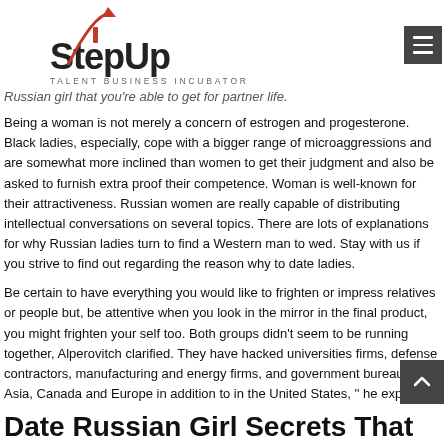StepUp Talent Business Incubator
Russian girl that you're able to get for partner life.
Being a woman is not merely a concern of estrogen and progesterone. Black ladies, especially, cope with a bigger range of microaggressions and are somewhat more inclined than women to get their judgment and also be asked to furnish extra proof their competence. Woman is well-known for their attractiveness. Russian women are really capable of distributing intellectual conversations on several topics. There are lots of explanations for why Russian ladies turn to find a Western man to wed. Stay with us if you strive to find out regarding the reason why to date ladies.
Be certain to have everything you would like to frighten or impress relatives or people but, be attentive when you look in the mirror in the final product, you might frighten your self too. Both groups didn't seem to be running together, Alperovitch clarified. They have hacked universities firms, defense contractors, manufacturing and energy firms, and government bureaus in Asia, Canada and Europe in addition to in the United States, '' he explained.
Date Russian Girl Secrets That